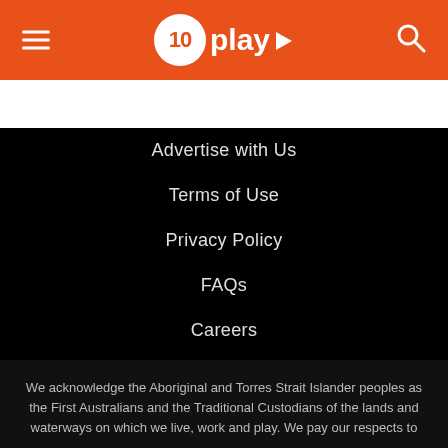10 play
Advertise with Us
Terms of Use
Privacy Policy
FAQs
Careers
Corporate
Contact Us
We acknowledge the Aboriginal and Torres Strait Islander peoples as the First Australians and the Traditional Custodians of the lands and waterways on which we live, work and play. We pay our respects to